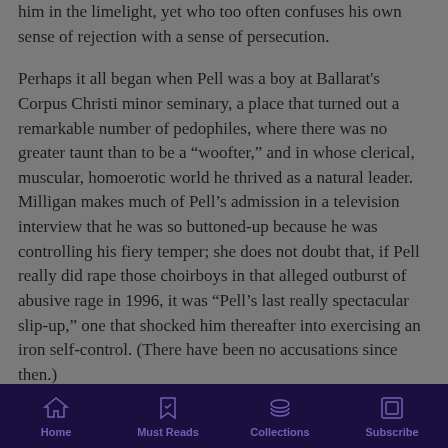him in the limelight, yet who too often confuses his own sense of rejection with a sense of persecution.

Perhaps it all began when Pell was a boy at Ballarat's Corpus Christi minor seminary, a place that turned out a remarkable number of pedophiles, where there was no greater taunt than to be a “woofter,” and in whose clerical, muscular, homoerotic world he thrived as a natural leader. Milligan makes much of Pell’s admission in a television interview that he was so buttoned-up because he was controlling his fiery temper; she does not doubt that, if Pell really did rape those choirboys in that alleged outburst of abusive rage in 1996, it was “Pell’s last really spectacular slip-up,” one that shocked him thereafter into exercising an iron self-control. (There have been no accusations since then.)
Home | Must Reads | Collections | Subscribe